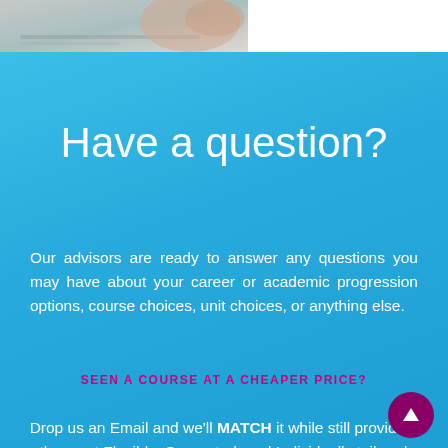[Figure (photo): Partial photo of person at laptop/desk, cropped at top of page, white background strip]
Have a question?
Our advisors are ready to answer any questions you may have about your career or academic progression options, course choices, unit choices, or anything else.
SEEN A COURSE AT A CHEAPER PRICE?
Drop us an Email and we'll MATCH it while still providing the most Flexible, Supported, and Individually tailored solution to Professional Development Online!